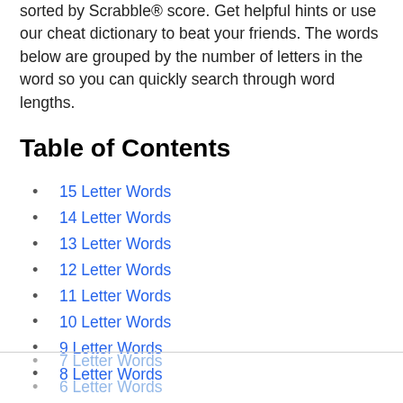sorted by Scrabble® score. Get helpful hints or use our cheat dictionary to beat your friends. The words below are grouped by the number of letters in the word so you can quickly search through word lengths.
Table of Contents
15 Letter Words
14 Letter Words
13 Letter Words
12 Letter Words
11 Letter Words
10 Letter Words
9 Letter Words
8 Letter Words
7 Letter Words
6 Letter Words